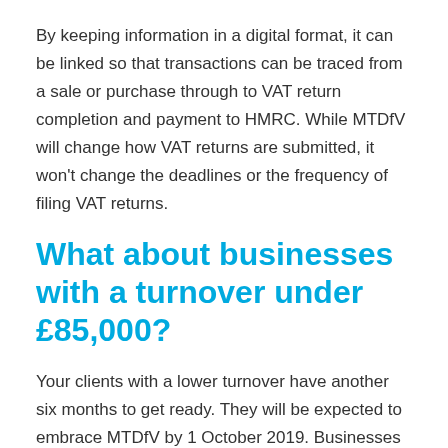By keeping information in a digital format, it can be linked so that transactions can be traced from a sale or purchase through to VAT return completion and payment to HMRC. While MTDfV will change how VAT returns are submitted, it won't change the deadlines or the frequency of filing VAT returns.
What about businesses with a turnover under £85,000?
Your clients with a lower turnover have another six months to get ready. They will be expected to embrace MTDfV by 1 October 2019. Businesses that have complex VAT affairs have also been given the benefit of these additional months. These include